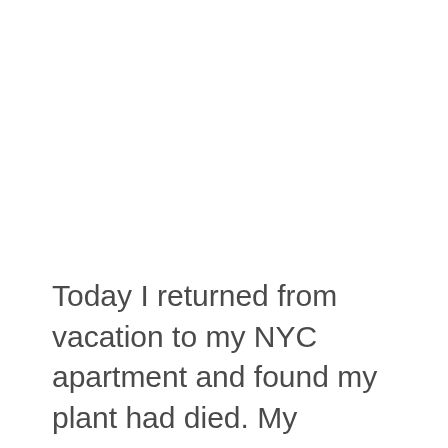Today I returned from vacation to my NYC apartment and found my plant had died. My